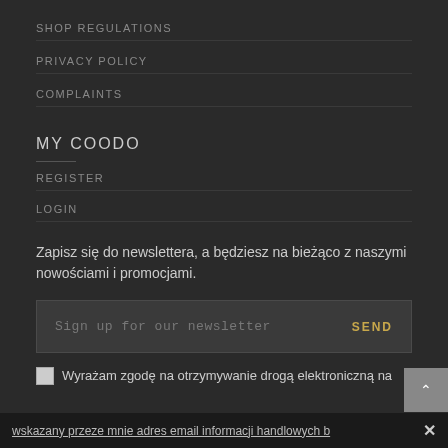SHOP REGULATIONS
PRIVACY POLICY
COMPLAINTS
MY COODO
REGISTER
LOGIN
Zapisz się do newslettera, a będziesz na bieżąco z naszymi nowościami i promocjami.
Sign up for our newsletter   SEND
Wyrażam zgodę na otrzymywanie drogą elektroniczną na
wskazany przeze mnie adres email informacji handlowych b